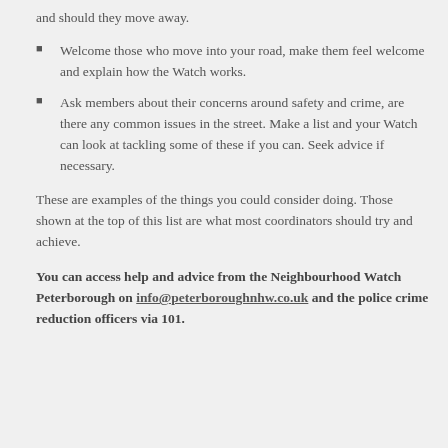and should they move away.
Welcome those who move into your road, make them feel welcome and explain how the Watch works.
Ask members about their concerns around safety and crime, are there any common issues in the street. Make a list and your Watch can look at tackling some of these if you can. Seek advice if necessary.
These are examples of the things you could consider doing. Those shown at the top of this list are what most coordinators should try and achieve.
You can access help and advice from the Neighbourhood Watch Peterborough on info@peterboroughnhw.co.uk and the police crime reduction officers via 101.